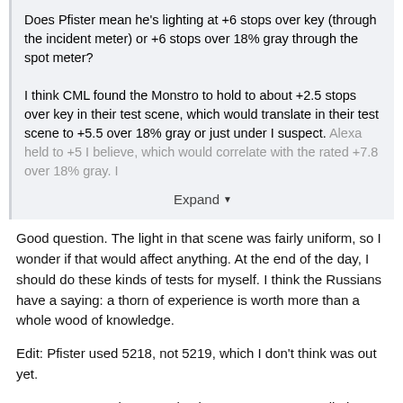Does Pfister mean he's lighting at +6 stops over key (through the incident meter) or +6 stops over 18% gray through the spot meter?

I think CML found the Monstro to hold to about +2.5 stops over key in their test scene, which would translate in their test scene to +5.5 over 18% gray or just under I suspect. Alexa held to +5 I believe, which would correlate with the rated +7.8 over 18% gray. I
Expand
Good question. The light in that scene was fairly uniform, so I wonder if that would affect anything. At the end of the day, I should do these kinds of tests for myself. I think the Russians have a saying: a thorn of experience is worth more than a whole wood of knowledge.
Edit: Pfister used 5218, not 5219, which I don't think was out yet.
Zacuto measured 5213 as having a 10.4 stop upper limit. 5219 was 9.5. Alexa (RAW) had an upper limit of 6.8, and the RED ONE had 5.0. I assume these are values over 18% gray. None of this matters, of course, if you are shooting your movie on an iPhone. ☺
I did see two frames of new Ektachrome 100, 10 stops apart. The base